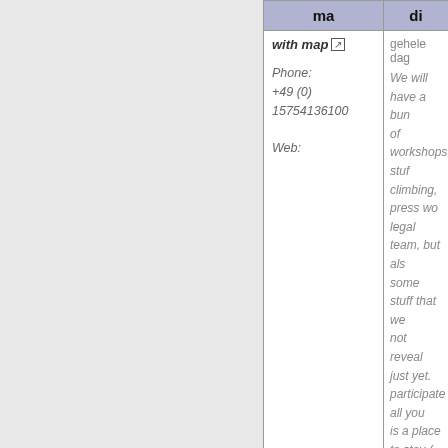| ma | di |
| --- | --- |
| with map [ext]
Phone: +49 (0) 15754136100
Web: | gehele dag

We will have a bunch of workshops, stuff like climbing, press work, legal team, but also some stuff that we will not reveal just yet. To participate all you need is a place to stay (tent, sleeping bag etc) maybe a cool plan (there are action maps available) and some rainproof stuff. The camp is donation based, also The KÜ the mobile kitchen the WAA will come cook for all.

The skillshare will take place 9 till 18th of october, the last weekend we will blockade the |
| Skillshare (hambach forest update)
gehele dag

We will have a bunch of workshops, stuff like climbing, press work, legal team, but also some stuff that we will not reveal just yet. To |  |